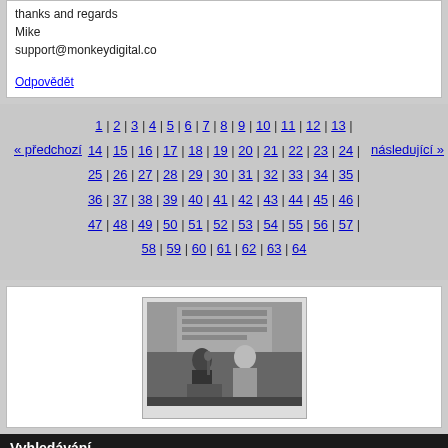thanks and regards
Mike
support@monkeydigital.co
Odpovědět
« předchozí  1 | 2 | 3 | 4 | 5 | 6 | 7 | 8 | 9 | 10 | 11 | 12 | 13 | 14 | 15 | 16 | 17 | 18 | 19 | 20 | 21 | 22 | 23 | 24 | 25 | 26 | 27 | 28 | 29 | 30 | 31 | 32 | 33 | 34 | 35 | 36 | 37 | 38 | 39 | 40 | 41 | 42 | 43 | 44 | 45 | 46 | 47 | 48 | 49 | 50 | 51 | 52 | 53 | 54 | 55 | 56 | 57 | 58 | 59 | 60 | 61 | 62 | 63 | 64  následující »
[Figure (photo): Black and white photo of two people at a podium or stage, one appears to be speaking into a microphone]
Vyhledávání